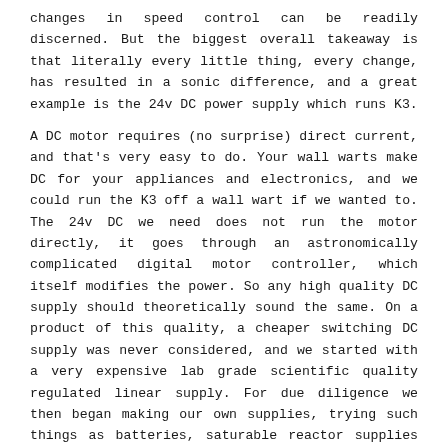changes in speed control can be readily discerned. But the biggest overall takeaway is that literally every little thing, every change, has resulted in a sonic difference, and a great example is the 24v DC power supply which runs K3.
A DC motor requires (no surprise) direct current, and that's very easy to do. Your wall warts make DC for your appliances and electronics, and we could run the K3 off a wall wart if we wanted to. The 24v DC we need does not run the motor directly, it goes through an astronomically complicated digital motor controller, which itself modifies the power. So any high quality DC supply should theoretically sound the same. On a product of this quality, a cheaper switching DC supply was never considered, and we started with a very expensive lab grade scientific quality regulated linear supply. For due diligence we then began making our own supplies, trying such things as batteries, saturable reactor supplies (used in studio applications by RCA) choke input unregulated supplies, and finally landing on a truly old fashioned idea- a